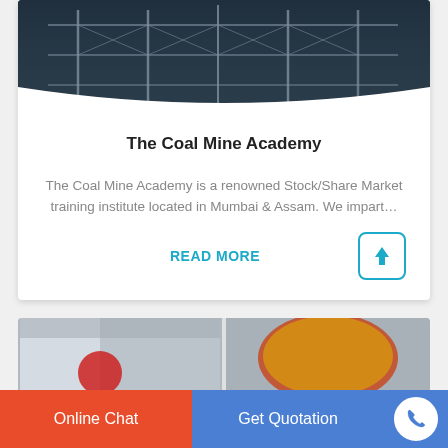[Figure (photo): Industrial/mining infrastructure photo - dark steel scaffolding and equipment against sky]
The Coal Mine Academy
The Coal Mine Academy is a renowned Stock/Share Market training institute located in Mumbai & Assam. We impart…
READ MORE
[Figure (photo): Two partial photos side by side - left shows building exterior with red circle element, right shows red/yellow rounded object]
Online Chat
Get Quotation